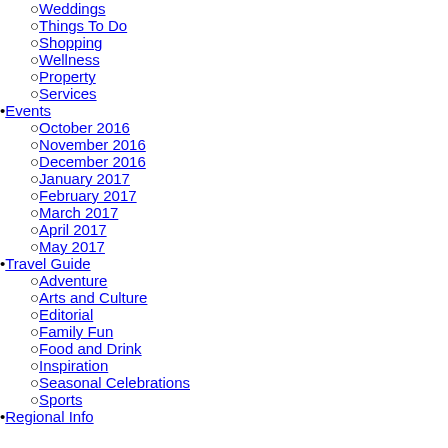Weddings
Things To Do
Shopping
Wellness
Property
Services
Events
October 2016
November 2016
December 2016
January 2017
February 2017
March 2017
April 2017
May 2017
Travel Guide
Adventure
Arts and Culture
Editorial
Family Fun
Food and Drink
Inspiration
Seasonal Celebrations
Sports
Regional Info